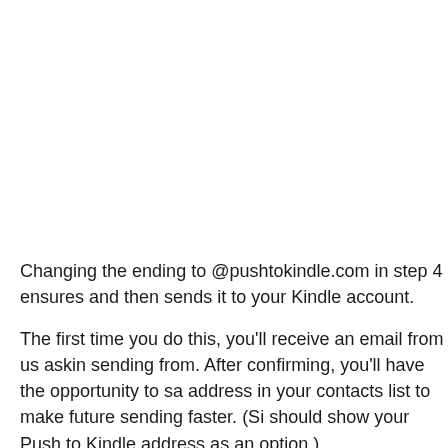Changing the ending to @pushtokindle.com in step 4 ensures and then sends it to your Kindle account.
The first time you do this, you'll receive an email from us asking sending from. After confirming, you'll have the opportunity to sa address in your contacts list to make future sending faster. (Si should show your Push to Kindle address as an option.)